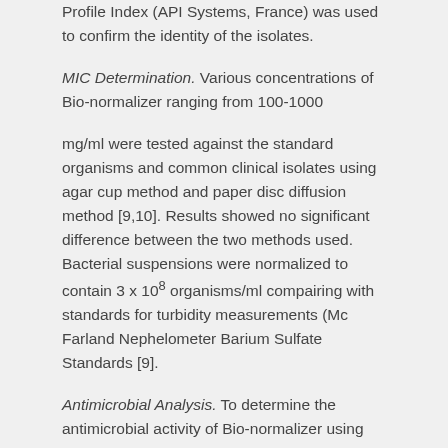Profile Index (API Systems, France) was used to confirm the identity of the isolates.
MIC Determination. Various concentrations of Bio-normalizer ranging from 100-1000
mg/ml were tested against the standard organisms and common clinical isolates using agar cup method and paper disc diffusion method [9,10]. Results showed no significant difference between the two methods used. Bacterial suspensions were normalized to contain 3 x 10⁸ organisms/ml compairing with standards for turbidity measurements (Mc Farland Nephelometer Barium Sulfate Standards [9].
Antimicrobial Analysis. To determine the antimicrobial activity of Bio-normalizer using
its MIC, isolates were subjected to paper disc diffusion method [9,10]. Assay for each isolate was done in triplicates. The plates were incubated at 37ºC for 24 hrs. and zones of inhibition were